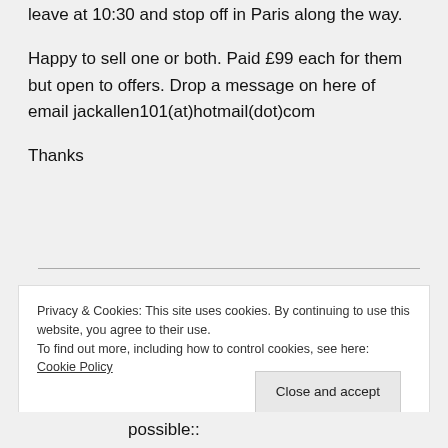leave at 10:30 and stop off in Paris along the way.

Happy to sell one or both. Paid £99 each for them but open to offers. Drop a message on here of email jackallen101(at)hotmail(dot)com

Thanks
Privacy & Cookies: This site uses cookies. By continuing to use this website, you agree to their use.
To find out more, including how to control cookies, see here: Cookie Policy
possible::